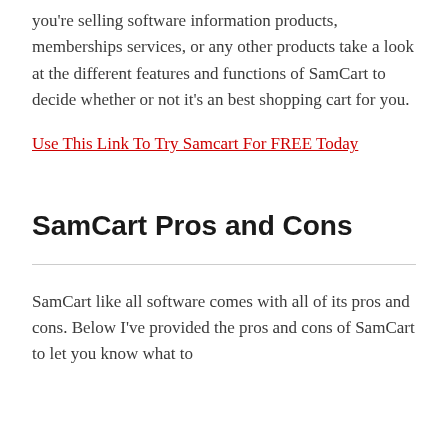you're selling software information products, memberships services, or any other products take a look at the different features and functions of SamCart to decide whether or not it's an best shopping cart for you.
Use This Link To Try Samcart For FREE Today
SamCart Pros and Cons
SamCart like all software comes with all of its pros and cons. Below I've provided the pros and cons of SamCart to let you know what to